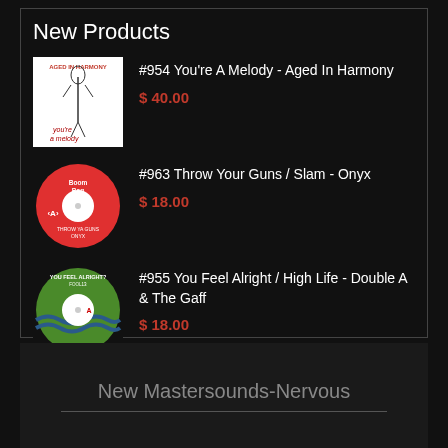New Products
#954 You're A Melody - Aged In Harmony
$ 40.00
#963 Throw Your Guns / Slam - Onyx
$ 18.00
#955 You Feel Alright / High Life - Double A & The Gaff
$ 18.00
New Mastersounds-Nervous